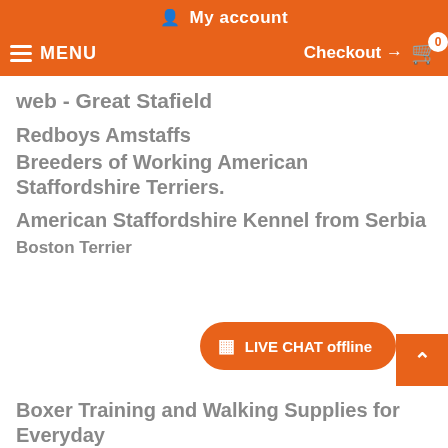My account
MENU  Checkout → 0
web - Great Stafield
Redboys Amstaffs
Breeders of Working American Staffordshire Terriers.
American Staffordshire Kennel from Serbia
Boston Terrier
[Figure (screenshot): LIVE CHAT offline button overlay]
Boxer Training and Walking Supplies for Everyday